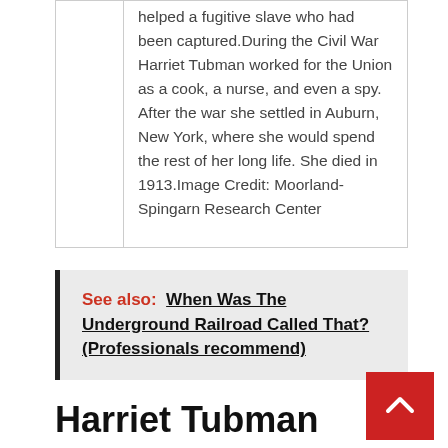helped a fugitive slave who had been captured.During the Civil War Harriet Tubman worked for the Union as a cook, a nurse, and even a spy. After the war she settled in Auburn, New York, where she would spend the rest of her long life. She died in 1913.Image Credit: Moorland-Spingarn Research Center
See also:  When Was The Underground Railroad Called That? (Professionals recommend)
Harriet Tubman